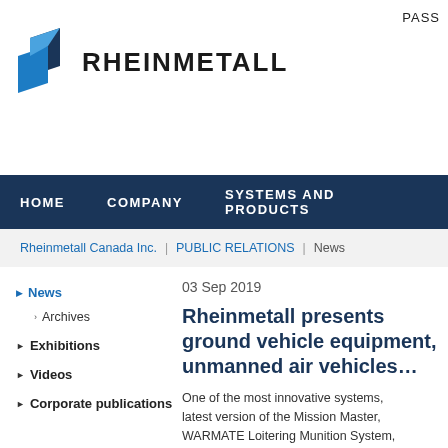PASS
[Figure (logo): Rheinmetall logo: blue geometric shape and bold text 'RHEINMETALL']
HOME   COMPANY   SYSTEMS AND PRODUCTS
Rheinmetall Canada Inc. | PUBLIC RELATIONS | News
News
Archives
Exhibitions
Videos
Corporate publications
03 Sep 2019
Rheinmetall presents ground vehicle equipment, unmanned air vehicles…
One of the most innovative systems, the latest version of the Mission Master, WARMATE Loitering Munition System, Poland's foremost defence contractor, dismounted troops with high-pre…